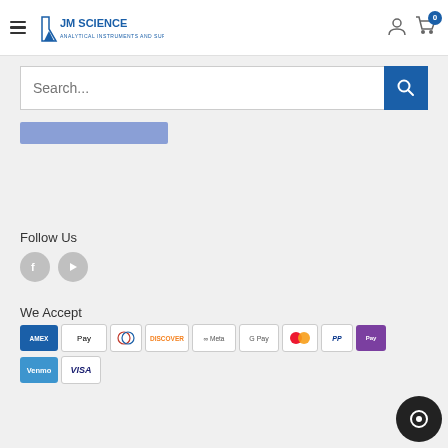[Figure (logo): JM Science logo - analytical instruments and supplies with flask icon]
[Figure (screenshot): Search bar with placeholder text 'Search...' and blue search button]
[Figure (other): Blue/purple horizontal strip below search bar]
Follow Us
[Figure (other): Social media icons: Facebook and YouTube circles]
We Accept
[Figure (other): Payment method icons: AMEX, Apple Pay, Diners, Discover, Meta, Google Pay, Mastercard, PayPal, Shop Pay, Venmo, Visa]
[Figure (other): Dark circular chat button in bottom right corner]